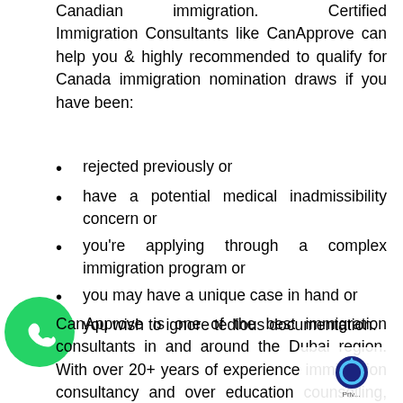Canadian immigration. Certified Immigration Consultants like CanApprove can help you & highly recommended to qualify for Canada immigration nomination draws if you have been:
rejected previously or
have a potential medical inadmissibility concern or
you're applying through a complex immigration program or
you may have a unique case in hand or
you wish to ignore tedious documentation.
CanApprove is one of the best immigration consultants in and around the Dubai region. With over 20+ years of experience immigration consultancy and over education counselling, we can be your best